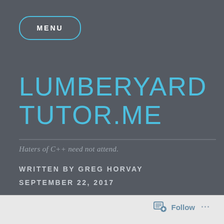MENU
LUMBERYARD TUTOR.ME
Haters of C++ need not attend.
WRITTEN BY GREG HORVAY
SEPTEMBER 22, 2017
Follow ...